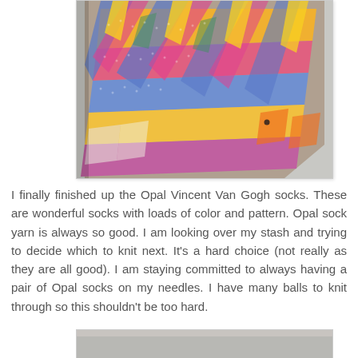[Figure (photo): Close-up photograph of colorful knitted socks in progress, showing multicolored yarn in yellow, orange, blue, pink, and purple stripes and patterns, lying on a light gray surface.]
I finally finished up the Opal Vincent Van Gogh socks. These are wonderful socks with loads of color and pattern. Opal sock yarn is always so good. I am looking over my stash and trying to decide which to knit next. It's a hard choice (not really as they are all good). I am staying committed to always having a pair of Opal socks on my needles. I have many balls to knit through so this shouldn't be too hard.
[Figure (photo): Partial view of another knitting photo, cropped at the bottom of the page.]